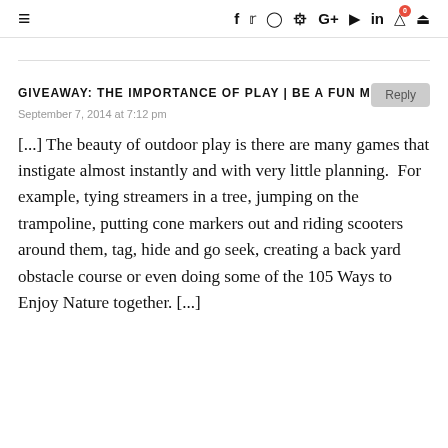≡  f  𝕏  ◎  𝐏  G+  ▶  in  🛒0  🔍
GIVEAWAY: THE IMPORTANCE OF PLAY | BE A FUN MUM
September 7, 2014 at 7:12 pm
[…] The beauty of outdoor play is there are many games that instigate almost instantly and with very little planning.  For example, tying streamers in a tree, jumping on the trampoline, putting cone markers out and riding scooters around them, tag, hide and go seek, creating a back yard obstacle course or even doing some of the 105 Ways to Enjoy Nature together. […]